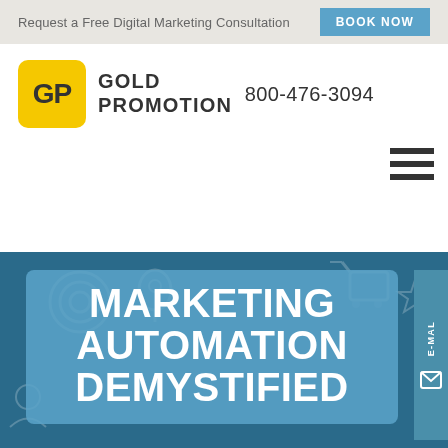Request a Free Digital Marketing Consultation   BOOK NOW
[Figure (logo): Gold Promotion logo with yellow GP icon and company name, plus phone number 800-476-3094]
[Figure (illustration): Hamburger menu icon (three horizontal lines)]
[Figure (infographic): Hero banner with dark blue background showing digital marketing icons, containing a lighter blue card with bold white text reading MARKETING AUTOMATION DEMYSTIFIED (partially visible)]